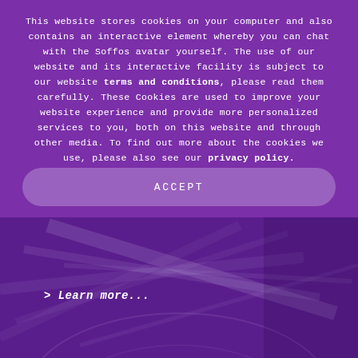This website stores cookies on your computer and also contains an interactive element whereby you can chat with the Soffos avatar yourself. The use of our website and its interactive facility is subject to our website terms and conditions, please read them carefully. These Cookies are used to improve your website experience and provide more personalized services to you, both on this website and through other media. To find out more about the cookies we use, please also see our privacy policy.
ACCEPT
> Learn more...